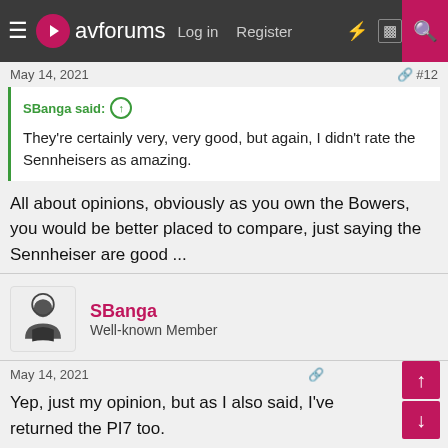avforums  Log in  Register  #12
May 14, 2021  #12
SBanga said: ↑
They're certainly very, very good, but again, I didn't rate the Sennheisers as amazing.
All about opinions, obviously as you own the Bowers, you would be better placed to compare, just saying the Sennheiser are good ...
SBanga
Well-known Member
May 14, 2021  #13
Yep, just my opinion, but as I also said, I've returned the PI7 too.
🔧 1
Don Rogers Tash